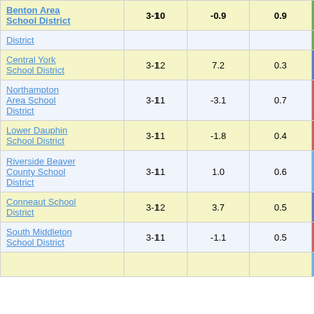| District | Grades | Col3 | Col4 | Score |
| --- | --- | --- | --- | --- |
| Benton Area School District | 3-10 | -0.9 | 0.9 | -0.98 |
| District |  |  |  |  |
| Central York School District | 3-12 | 7.2 | 0.3 | 21.64 |
| Northampton Area School District | 3-11 | -3.1 | 0.7 | -4.80 |
| Lower Dauphin School District | 3-11 | -1.8 | 0.4 | -4.56 |
| Riverside Beaver County School District | 3-11 | 1.0 | 0.6 | 1.54 |
| Conneaut School District | 3-12 | 3.7 | 0.5 | 6.95 |
| South Middleton School District | 3-11 | -1.1 | 0.5 | -2.15 |